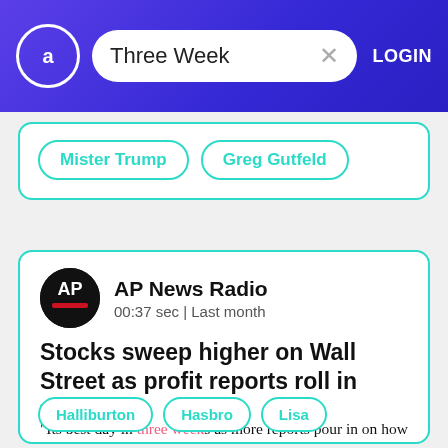Three Week  LOGIN
Mister Trump
Greg Gutfeld
AP News Radio  00:37 sec | Last month
Stocks sweep higher on Wall Street as profit reports roll in
"Its best day in three weeks as more reports pour in on how much profit companies made during the spring The S&P 500 rose 2.8% after a powerful tide carried 99% of the...
Halliburton
Hasbro
Lisa